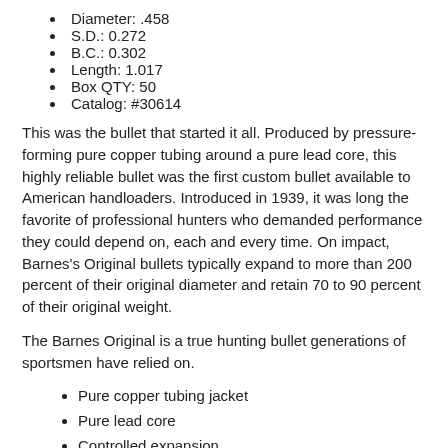Diameter: .458
S.D.: 0.272
B.C.: 0.302
Length: 1.017
Box QTY: 50
Catalog: #30614
This was the bullet that started it all. Produced by pressure-forming pure copper tubing around a pure lead core, this highly reliable bullet was the first custom bullet available to American handloaders. Introduced in 1939, it was long the favorite of professional hunters who demanded performance they could depend on, each and every time. On impact, Barnes's Original bullets typically expand to more than 200 percent of their original diameter and retain 70 to 90 percent of their original weight.
The Barnes Original is a true hunting bullet generations of sportsmen have relied on.
Pure copper tubing jacket
Pure lead core
Controlled expansion
Deep penetration
Proven performance